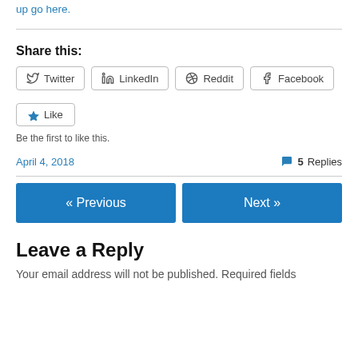up go here.
Share this:
Twitter  LinkedIn  Reddit  Facebook
Like
Be the first to like this.
April 4, 2018
5 Replies
« Previous
Next »
Leave a Reply
Your email address will not be published. Required fields